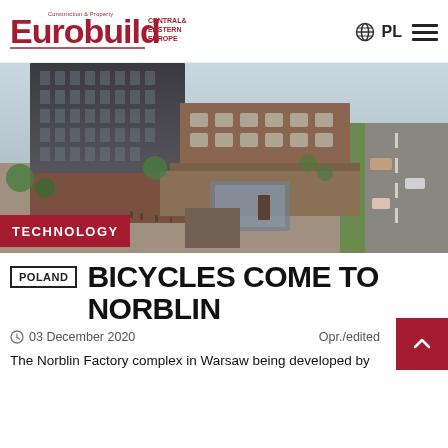Eurobuild Central & Eastern Europe — Construction & Property | PL
[Figure (photo): Aerial rendering of the Norblin Factory complex in Warsaw, showing a modern mixed-use development with tall dark glass office towers, historic brick industrial buildings, a pedestrian plaza, greenery, and a road with cars alongside. A red TECHNOLOGY label appears at the bottom left.]
POLAND — BICYCLES COME TO NORBLIN
03 December 2020   Opr./edited
The Norblin Factory complex in Warsaw being developed by